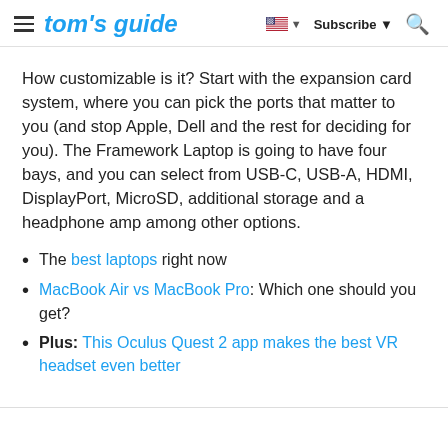tom's guide | Subscribe | Search
How customizable is it? Start with the expansion card system, where you can pick the ports that matter to you (and stop Apple, Dell and the rest for deciding for you). The Framework Laptop is going to have four bays, and you can select from USB-C, USB-A, HDMI, DisplayPort, MicroSD, additional storage and a headphone amp among other options.
The best laptops right now
MacBook Air vs MacBook Pro: Which one should you get?
Plus: This Oculus Quest 2 app makes the best VR headset even better